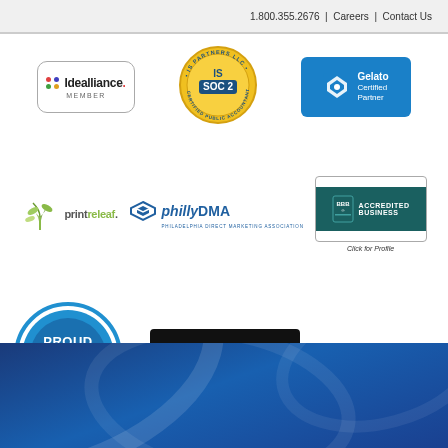1.800.355.2676  |  Careers  |  Contact Us
[Figure (logo): Idealliance Member badge - white rounded rectangle with colorful dots logo and text]
[Figure (logo): IS Partners LLC SOC 2 Certified Public Accountants gold seal badge]
[Figure (logo): Gelato Certified Partner blue badge with diamond logo]
[Figure (logo): PrintReleaf logo with leaf/plant graphic]
[Figure (logo): PhillyDMA Philadelphia Direct Marketing Association logo]
[Figure (logo): BBB Accredited Business badge - Click for Profile]
[Figure (logo): NAM National Association of Manufacturers Proud Member circular badge in blue]
[Figure (logo): Find us on Ariba Network black badge with orange M logo]